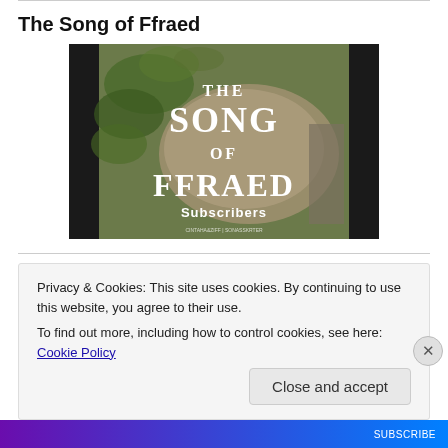The Song of Ffraed
[Figure (illustration): Book cover image for 'The Song of Ffraed' showing mossy stone with white text overlay reading THE SONG OF FFRAED Subscribers, with dark side panels]
The Song of Ffraed public
Privacy & Cookies: This site uses cookies. By continuing to use this website, you agree to their use.
To find out more, including how to control cookies, see here: Cookie Policy